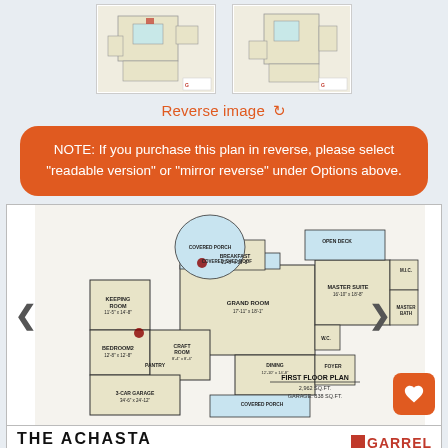[Figure (other): Two small floor plan thumbnail images side by side at top of page]
Reverse image ↺
NOTE: If you purchase this plan in reverse, please select "readable version" or "mirror reverse" under Options above.
[Figure (engineering-diagram): First floor plan of The Achasta house showing rooms including Keeping Room, Breakfast area, Covered Porch, Open Deck, Covered Shed Roof, Master Suite, Grand Room, Dining, Foyer, Covered Porch, 3-Car Garage, Bedroom 2, Craft Room, Pantry. First Floor Plan: 2,962 SQ.FT., Garage: 838 SQ.FT.]
THE ACHASTA
PLAN #98103    5,130 SQ.FT.
WIDTH: 100.0'
FIRST FLOOR PLAN
2,962 SQ.FT.
GARAGE: 838 SQ.FT.
[Figure (logo): GARRELL logo in red]